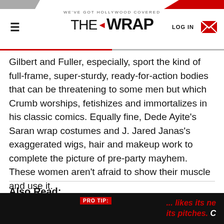WE'VE GOT HOLLYWOOD COVERED — THE WRAP
Gilbert and Fuller, especially, sport the kind of full-frame, super-sturdy, ready-for-action bodies that can be threatening to some men but which Crumb worships, fetishizes and immortalizes in his classic comics. Equally fine, Dede Ayite's Saran wrap costumes and J. Jared Janas's exaggerated wigs, hair and makeup work to complete the picture of pre-party mayhem. These women aren't afraid to show their muscle and use it.
Also Read:
PRO TIP: ... likes its ne its pitches. C